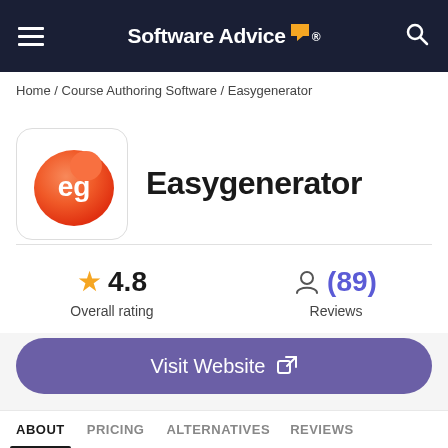Software Advice
Home / Course Authoring Software / Easygenerator
[Figure (logo): Easygenerator product logo: orange gradient circle with white 'eg' text]
Easygenerator
★ 4.8
Overall rating
(89)
Reviews
Visit Website
ABOUT  PRICING  ALTERNATIVES  REVIEWS